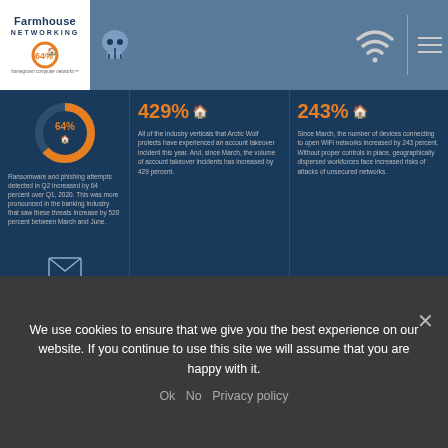Farmhouse Networking - homegrown computer networks
[Figure (infographic): Cybersecurity statistics infographic with three columns: 64% ransomware/phishing increase, 429% account takeover incidents, 243% increase in devices connecting to open WiFi networks]
There are also startling statistics on the increase in email phishing attempts and the use of unsecure public wireless connections. These numbers are like due to the Work From Home employees using their own insecure computers and cyber criminals trying to take advantage of the trend. It appears that security
We use cookies to ensure that we give you the best experience on our website. If you continue to use this site we will assume that you are happy with it.
Ok   No   Privacy policy